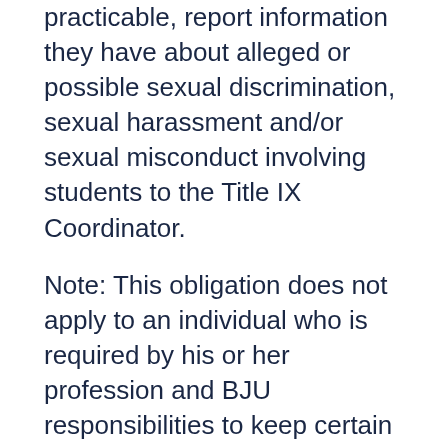practicable, report information they have about alleged or possible sexual discrimination, sexual harassment and/or sexual misconduct involving students to the Title IX Coordinator.
Note: This obligation does not apply to an individual who is required by his or her profession and BJU responsibilities to keep certain communications confidential (e.g., a professional counselor or chaplain), except as may be required by law. Further, the director, the counselors and front desk staff at the Center for Student Care are not required to report incidents in a way that identifies the student without consent.
Upon receiving a report of alleged or possible